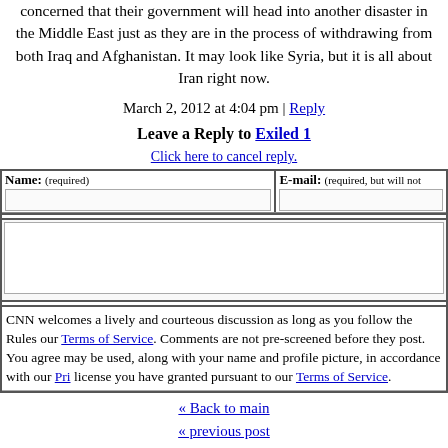concerned that their government will head into another disaster in the Middle East just as they are in the process of withdrawing from both Iraq and Afghanistan. It may look like Syria, but it is all about Iran right now.
March 2, 2012 at 4:04 pm | Reply
Leave a Reply to Exiled 1
Click here to cancel reply.
| Name: (required) | E-mail: (required, but will not... |
| --- | --- |
CNN welcomes a lively and courteous discussion as long as you follow the Rules our Terms of Service. Comments are not pre-screened before they post. You agree may be used, along with your name and profile picture, in accordance with our Pri license you have granted pursuant to our Terms of Service.
« Back to main
« previous post